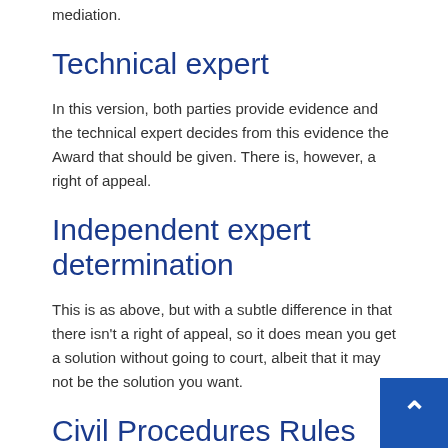mediation.
Technical expert
In this version, both parties provide evidence and the technical expert decides from this evidence the Award that should be given. There is, however, a right of appeal.
Independent expert determination
This is as above, but with a subtle difference in that there isn't a right of appeal, so it does mean you get a solution without going to court, albeit that it may not be the solution you want.
Civil Procedures Rules (CPR)
The introduction of the Civil Procedure Rules and Proto… has meant that with any dispute you have to show that… have made every effort to resolve it before going to court and